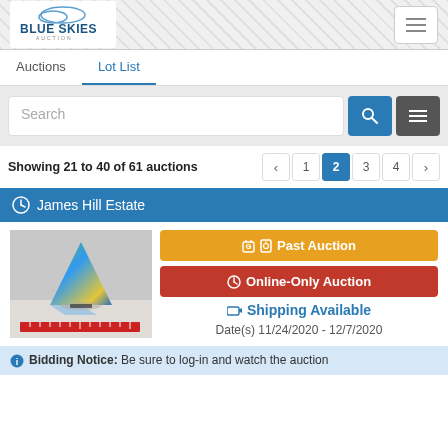Blue Skies Auction
Auctions | Lot List
Search
Showing 21 to 40 of 61 auctions — Page 2 of 4
James Hill Estate
[Figure (photo): Photo of a colorful triangular glass sculpture (green/blue/yellow) on a reflective surface, with a red ruler shown for scale]
Past Auction
Online-Only Auction
Shipping Available
Date(s) 11/24/2020 - 12/7/2020
Bidding Notice: Be sure to log-in and watch the auction